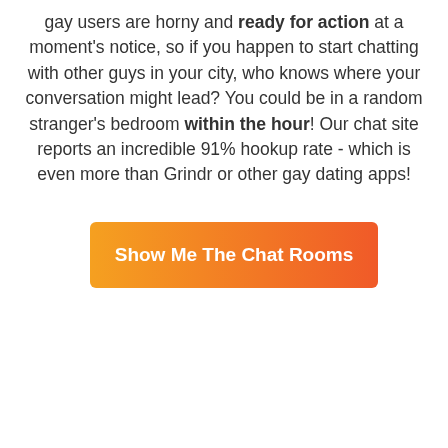gay users are horny and ready for action at a moment's notice, so if you happen to start chatting with other guys in your city, who knows where your conversation might lead? You could be in a random stranger's bedroom within the hour! Our chat site reports an incredible 91% hookup rate - which is even more than Grindr or other gay dating apps!
[Figure (other): Orange-to-red gradient call-to-action button labeled 'Show Me The Chat Rooms']